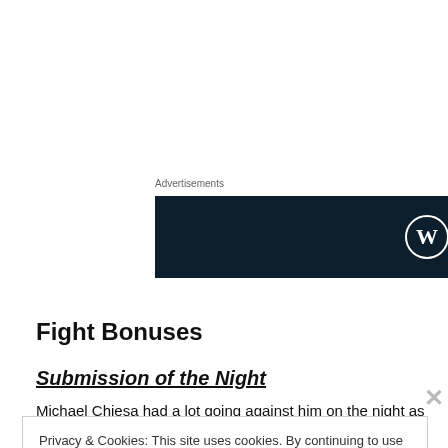Advertisements
[Figure (logo): Dark navy advertisement banner with WordPress logo (W in circle) on the right side]
Fight Bonuses
Submission of the Night
Michael Chiesa had a lot going against him on the night as
Privacy & Cookies: This site uses cookies. By continuing to use this website, you agree to their use.
To find out more, including how to control cookies, see here: Cookie Policy
Close and accept